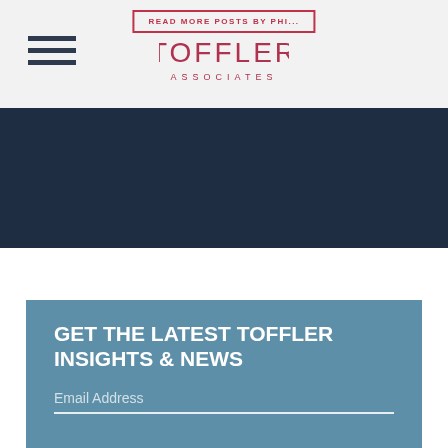READ MORE POSTS BY PHI...
[Figure (logo): Toffler Associates logo with hamburger menu icon]
[Figure (photo): Dark navy blue banner/background image]
GET THE LATEST TOFFLER INSIGHTS & NEWS
Email Address